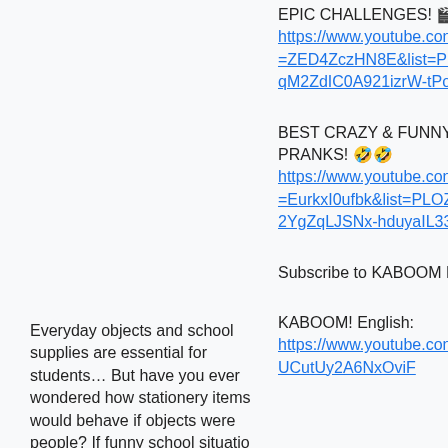EPIC CHALLENGES! 🎬🎬🎬
https://www.youtube.com/watch?v=ZED4ZczHN8E&list=PLOZn5IBhqM2ZdIC0A921izrW-tPoS0prv
BEST CRAZY & FUNNY PRANKS! 🤣🤣
https://www.youtube.com/watch?v=EurkxI0ufbk&list=PLOZn5IBhqM2YgZqLJSNx-hduyaIL33y49
Everyday objects and school supplies are essential for students… But have you ever wondered how stationery items would behave if objects were people? If funny school situatio
Subscribe to KABOOM FAMILY
KABOOM! English: https://www.youtube.com/channel/UCutUy2A6NxOviF